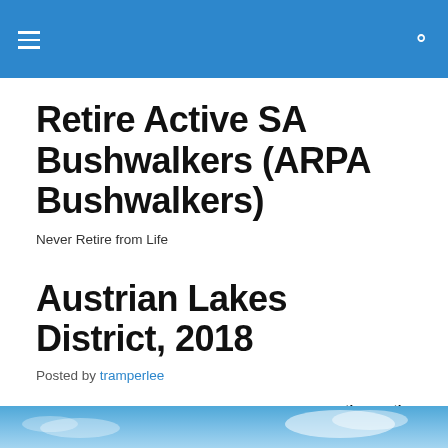Retire Active SA Bushwalkers (ARPA Bushwalkers)
Never Retire from Life
Austrian Lakes District, 2018
Posted by tramperlee
THREE BAD TOWNS IN AUSTRIA   Aug 8th – 18th
Bad Ischl, Bad Goisern, Bad Aussee
[Figure (photo): Partial view of a blue sky with clouds at the bottom of the page]